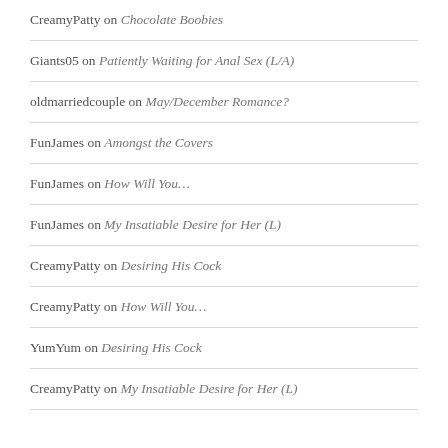CreamyPatty on Chocolate Boobies
Giants05 on Patiently Waiting for Anal Sex (L/A)
oldmarriedcouple on May/December Romance?
FunJames on Amongst the Covers
FunJames on How Will You…
FunJames on My Insatiable Desire for Her (L)
CreamyPatty on Desiring His Cock
CreamyPatty on How Will You…
YumYum on Desiring His Cock
CreamyPatty on My Insatiable Desire for Her (L)